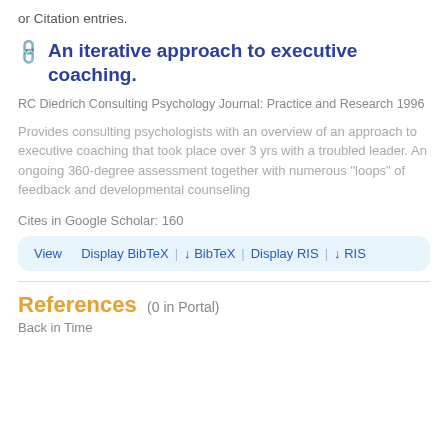or Citation entries.
An iterative approach to executive coaching.
RC Diedrich Consulting Psychology Journal: Practice and Research 1996
Provides consulting psychologists with an overview of an approach to executive coaching that took place over 3 yrs with a troubled leader. An ongoing 360-degree assessment together with numerous "loops" of feedback and developmental counseling
Cites in Google Scholar: 160
View | Display BibTeX | ↓ BibTeX | Display RIS | ↓ RIS
References (0 in Portal)
Back in Time